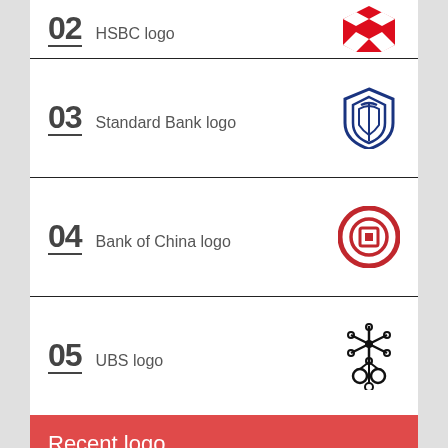02  HSBC logo
[Figure (logo): HSBC logo - red hexagon shape]
03  Standard Bank logo
[Figure (logo): Standard Bank logo - blue shield with stylized design]
04  Bank of China logo
[Figure (logo): Bank of China logo - red circle with square coin symbol]
05  UBS logo
[Figure (logo): UBS logo - black snowflake/keys symbol]
Recent logo